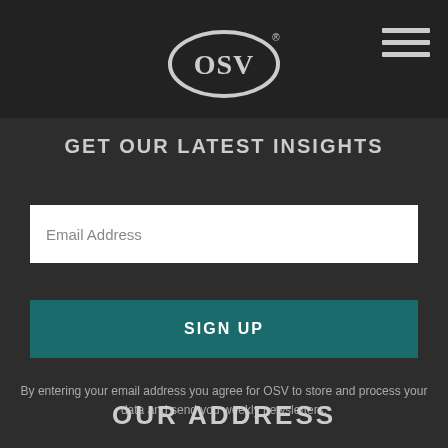OSV logo and navigation menu
GET OUR LATEST INSIGHTS
Email Address
SIGN UP
By entering your email address you agree for OSV to store and process your data and send you weekly newsletters.
OUR ADDRESS